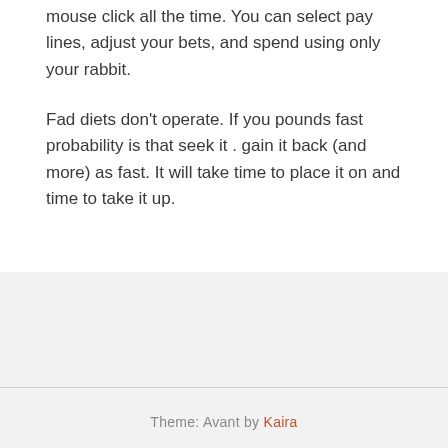mouse click all the time. You can select pay lines, adjust your bets, and spend using only your rabbit.
Fad diets don't operate. If you pounds fast probability is that seek it . gain it back (and more) as fast. It will take time to place it on and time to take it up.
Theme: Avant by Kaira